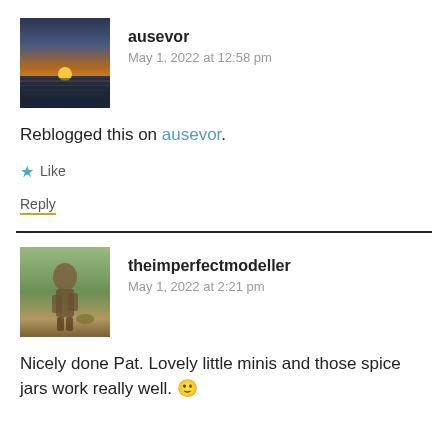[Figure (photo): Avatar photo of sunset over water with orange/gold sun on horizon, dark silhouette landscape below]
ausevor
May 1, 2022 at 12:58 pm
Reblogged this on ausevor.
★ Like
Reply
[Figure (photo): Avatar photo of a small painted figurine/miniature model outdoors in natural setting]
theimperfectmodeller
May 1, 2022 at 2:21 pm
Nicely done Pat. Lovely little minis and those spice jars work really well. 🙂